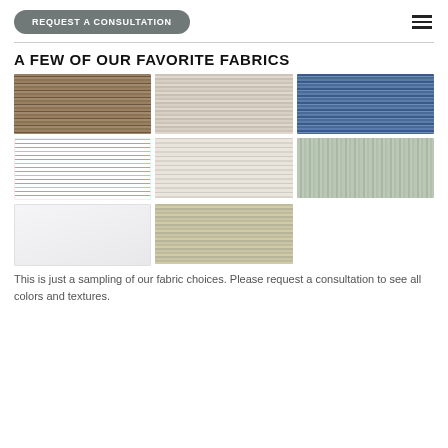REQUEST A CONSULTATION
A FEW OF OUR FAVORITE FABRICS
[Figure (photo): Grid of 8 fabric texture swatches: row 1 - brown woven, beige striped, blue striped; row 2 - white/red pinstripe, light gray wood-like, sage green textured; row 3 - white/light gray plain, olive/beige grasscloth]
This is just a sampling of our fabric choices. Please request a consultation to see all colors and textures.